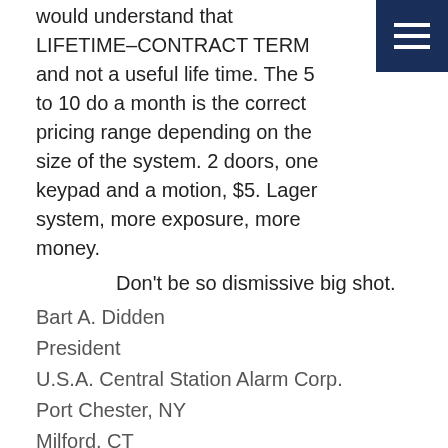would understand that LIFETIME–CONTRACT TERM and not a useful life time. The 5 to 10 do a month is the correct pricing range depending on the size of the system. 2 doors, one keypad and a motion, $5. Lager system, more exposure, more money.
Don't be so dismissive big shot.
Bart A. Didden
President
U.S.A. Central Station Alarm Corp.
Port Chester, NY
Milford, CT
St. Paul, MN
877-872-1266
********************
Response